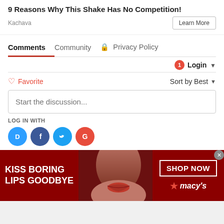9 Reasons Why This Shake Has No Competition!
Kachava
Learn More
Comments   Community   🔒 Privacy Policy
1  Login ▾
♡ Favorite
Sort by Best ▾
Start the discussion...
LOG IN WITH
[Figure (infographic): Social login icons: Disqus (blue speech bubble with D), Facebook (dark blue circle with f), Twitter (light blue circle with bird), Google (red circle with G)]
[Figure (infographic): Macy's advertisement banner: dark red background with woman's face, text 'KISS BORING LIPS GOODBYE', 'SHOP NOW' button, and Macy's star logo]